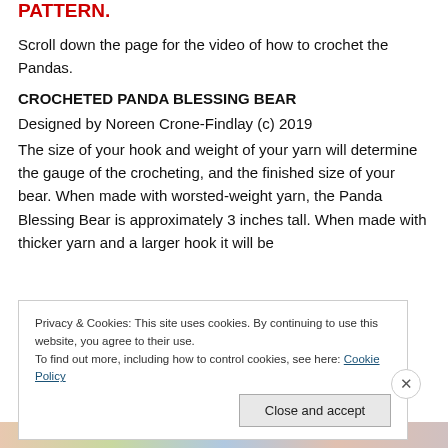PATTERN.
Scroll down the page for the video of how to crochet the Pandas.
CROCHETED PANDA BLESSING BEAR
Designed by Noreen Crone-Findlay (c) 2019
The size of your hook and weight of your yarn will determine the gauge of the crocheting, and the finished size of your bear. When made with worsted-weight yarn, the Panda Blessing Bear is approximately 3 inches tall. When made with thicker yarn and a larger hook it will be
Privacy & Cookies: This site uses cookies. By continuing to use this website, you agree to their use.
To find out more, including how to control cookies, see here: Cookie Policy
Close and accept